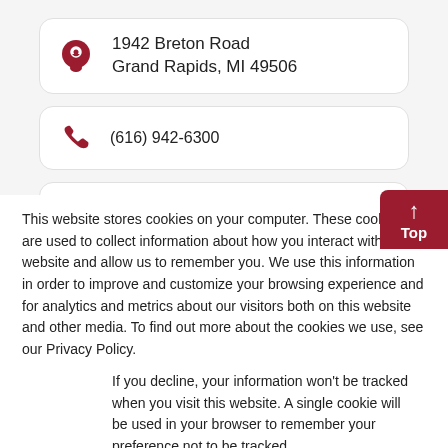1942 Breton Road
Grand Rapids, MI 49506
(616) 942-6300
Visit Website
This website stores cookies on your computer. These cookies are used to collect information about how you interact with our website and allow us to remember you. We use this information in order to improve and customize your browsing experience and for analytics and metrics about our visitors both on this website and other media. To find out more about the cookies we use, see our Privacy Policy.
If you decline, your information won't be tracked when you visit this website. A single cookie will be used in your browser to remember your preference not to be tracked.
Accept
Decline